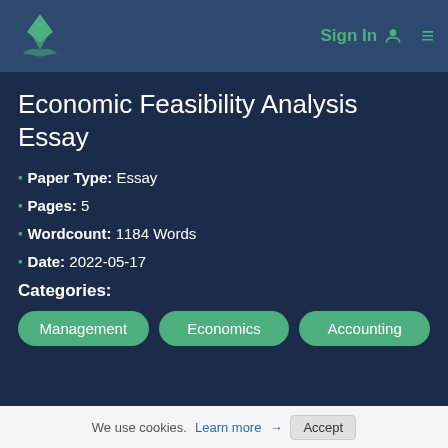Sign In  ≡
Economic Feasibility Analysis Essay
Paper Type: Essay
Pages: 5
Wordcount: 1184 Words
Date: 2022-05-17
Categories:
Management  Economics  Accounting
We use cookies. Learn more → Accept